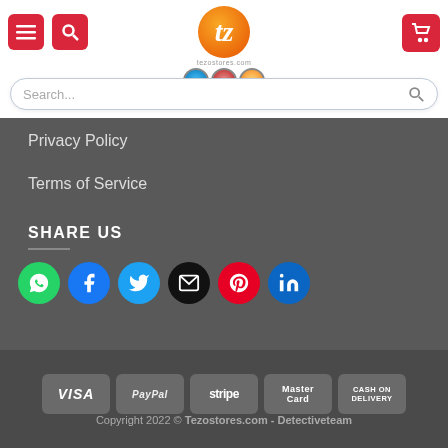[Figure (logo): Tezostores.com logo: orange circle with tez symbol, three badge icons below, red menu and search buttons left, red cart button right, search bar below]
Privacy Policy
Terms of Service
SHARE US
[Figure (infographic): Row of 6 social media circular icon buttons: WhatsApp (green), Facebook (blue), Twitter (blue), Email (black), Pinterest (red), LinkedIn (blue)]
[Figure (infographic): Payment method badges: VISA, PayPal, stripe, MasterCard, CASH ON DELIVERY]
Copyright 2022 © Tezostores.com - Detectiveteam